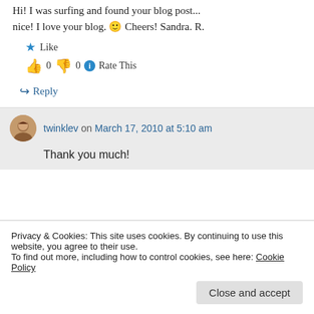Hi! I was surfing and found your blog post... nice! I love your blog. 🙂 Cheers! Sandra. R.
★ Like
👍 0 👎 0 ℹ Rate This
↪ Reply
twinklev on March 17, 2010 at 5:10 am
Thank you much!
Privacy & Cookies: This site uses cookies. By continuing to use this website, you agree to their use. To find out more, including how to control cookies, see here: Cookie Policy
Close and accept